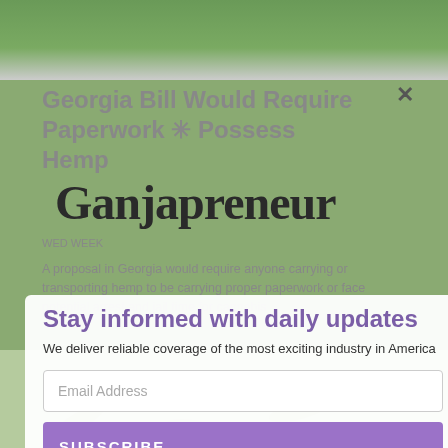[Figure (photo): Top portion of a webpage showing hands holding hemp plant against green field background]
Georgia Bill Would Require Paperwork ✳ Possess Hemp
[Figure (logo): Ganjapreneur logo in dark serif font]
WED WEEK...
A proposal in Georgia would require anyone carrying or transporting hemp to be carrying proper paperwork or face potential arrest and jail time for cannabis
Stay informed with daily updates
We deliver reliable coverage of the most exciting industry in America
Email Address
SUBSCRIBE